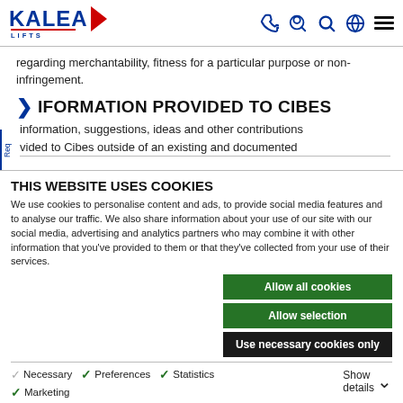Kalea Lifts logo and navigation icons
regarding merchantability, fitness for a particular purpose or non-infringement.
INFORMATION PROVIDED TO CIBES
information, suggestions, ideas and other contributions vided to Cibes outside of an existing and documented
THIS WEBSITE USES COOKIES
We use cookies to personalise content and ads, to provide social media features and to analyse our traffic. We also share information about your use of our site with our social media, advertising and analytics partners who may combine it with other information that you've provided to them or that they've collected from your use of their services.
Allow all cookies
Allow selection
Use necessary cookies only
Necessary  Preferences  Statistics  Marketing  Show details